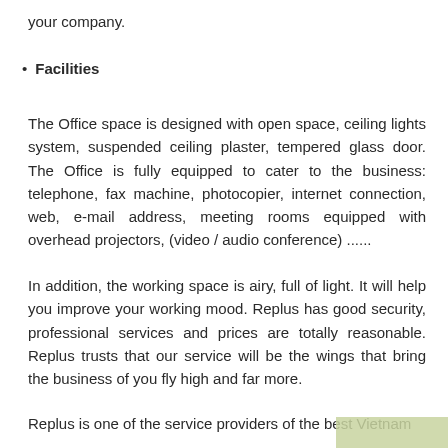your company.
Facilities
The Office space is designed with open space, ceiling lights system, suspended ceiling plaster, tempered glass door. The Office is fully equipped to cater to the business: telephone, fax machine, photocopier, internet connection, web, e-mail address, meeting rooms equipped with overhead projectors, (video / audio conference) ......
In addition, the working space is airy, full of light. It will help you improve your working mood. Replus has good security, professional services and prices are totally reasonable. Replus trusts that our service will be the wings that bring the business of you fly high and far more.
Replus is one of the service providers of the best Vietnam